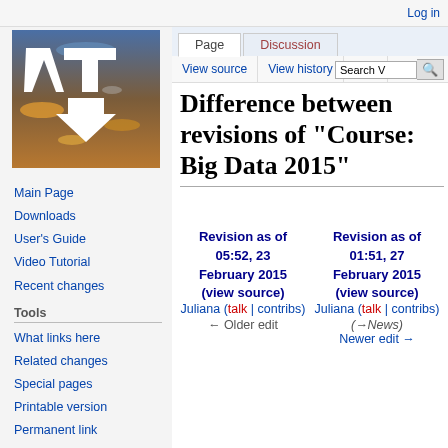Log in
[Figure (logo): VisualTool wiki logo: white VT letters with downward arrow on blue/orange background]
Main Page
Downloads
User's Guide
Video Tutorial
Recent changes
Tools
What links here
Related changes
Special pages
Printable version
Permanent link
Page information
Difference between revisions of "Course: Big Data 2015"
| Revision as of 05:52, 23 February 2015 | Revision as of 01:51, 27 February 2015 |
| --- | --- |
| (view source) | (view source) |
| Juliana (talk | contribs) | Juliana (talk | contribs) |
| ← Older edit | (→News)
Newer edit → |
Line 10:    Line 10: